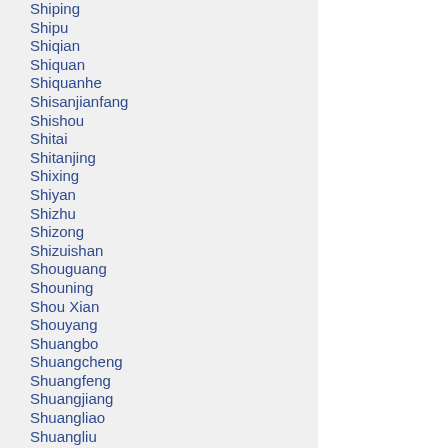Shiping
Shipu
Shiqian
Shiquan
Shiquanhe
Shisanjianfang
Shishou
Shitai
Shitanjing
Shixing
Shiyan
Shizhu
Shizong
Shizuishan
Shouguang
Shouning
Shou Xian
Shouyang
Shuangbo
Shuangcheng
Shuangfeng
Shuangjiang
Shuangliao
Shuangliu
Shuangpai
Shuangyang
Shuangyashan
Shucheng
Shuicheng
Shulan
Shunchang
Shunde
Shunyi